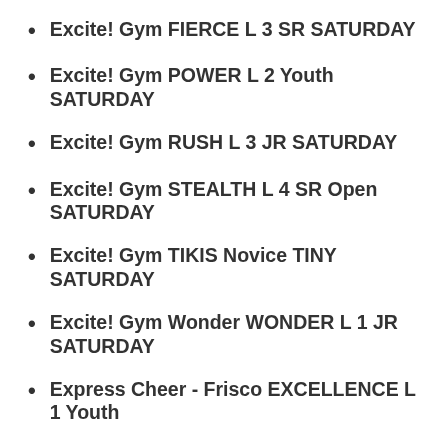Excite! Gym FIERCE L 3 SR SATURDAY
Excite! Gym POWER L 2 Youth SATURDAY
Excite! Gym RUSH L 3 JR SATURDAY
Excite! Gym STEALTH L 4 SR Open SATURDAY
Excite! Gym TIKIS Novice TINY SATURDAY
Excite! Gym Wonder WONDER L 1 JR SATURDAY
Express Cheer - Frisco EXCELLENCE L 1 Youth
Express Cheer - Frisco EXCEPTIONAL L 4.2 SR
Express Cheer - Frisco EXECUTIONERS L 3 JR
Express Cheer - Frisco EXOTIC L 5 JR